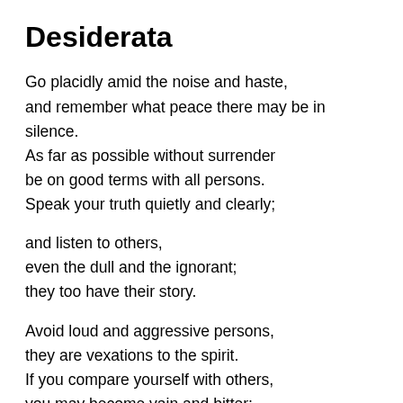Desiderata
Go placidly amid the noise and haste,
and remember what peace there may be in silence.
As far as possible without surrender
be on good terms with all persons.
Speak your truth quietly and clearly;
and listen to others,
even the dull and the ignorant;
they too have their story.
Avoid loud and aggressive persons,
they are vexations to the spirit.
If you compare yourself with others,
you may become vain and bitter;
for always there will be greater and lesser persons than